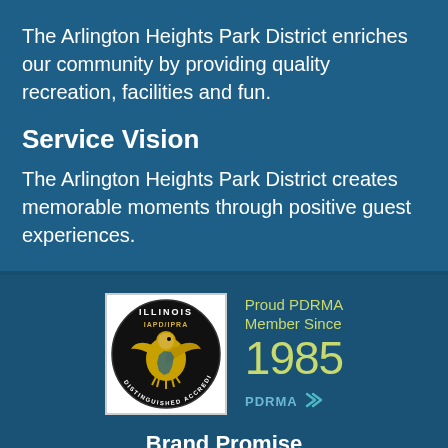The Arlington Heights Park District enriches our community by providing quality recreation, facilities and fun.
Service Vision
The Arlington Heights Park District creates memorable moments through positive guest experiences.
[Figure (logo): Illinois IAPD/IPRA Distinguished Accredited Agency seal with golden eagle, black circle, white background]
Proud PDRMA Member Since 1985
Brand Promise